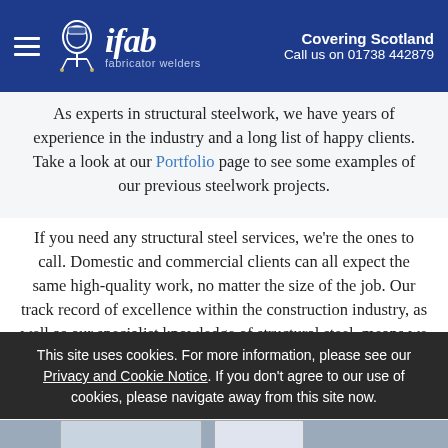ifab fabricator welders | Covering Scotland | Call us on 01738 442879
As experts in structural steelwork, we have years of experience in the industry and a long list of happy clients. Take a look at our Portfolio page to see some examples of our previous steelwork projects.
If you need any structural steel services, we're the ones to call. Domestic and commercial clients can all expect the same high-quality work, no matter the size of the job. Our track record of excellence within the construction industry, as well as our specialist knowledge of structural steel, means we can offer a wide range of services.
This site uses cookies. For more information, please see our Privacy and Cookie Notice. If you don't agree to our use of cookies, please navigate away from this site now.
[Figure (photo): Partial view of steelwork project photo thumbnails at bottom of page]